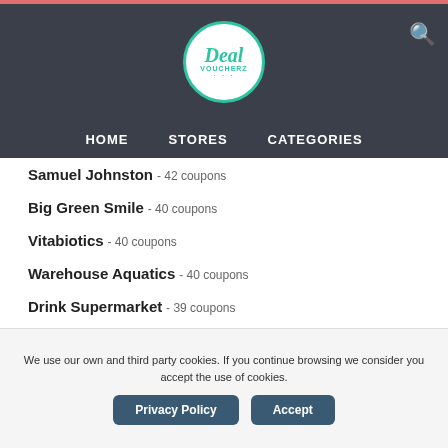[Figure (logo): Deal Voucherz logo - circular logo with teal border, italic 'Deal' text and 'VOUCHERZ' text below]
HOME   STORES   CATEGORIES
Samuel Johnston - 42 coupons
Big Green Smile - 40 coupons
Vitabiotics - 40 coupons
Warehouse Aquatics - 40 coupons
Drink Supermarket - 39 coupons
Claire's - 39 coupons
We use our own and third party cookies. If you continue browsing we consider you accept the use of cookies.
Privacy Policy   Accept